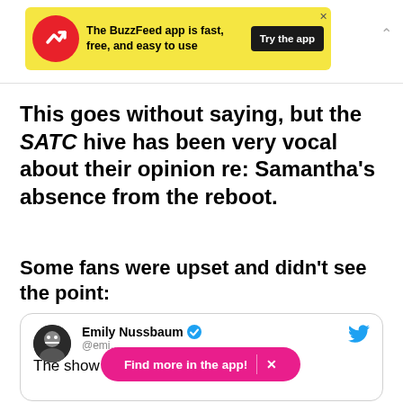[Figure (screenshot): BuzzFeed app advertisement banner with yellow background, red circular logo with white arrow, bold text 'The BuzzFeed app is fast, free, and easy to use', and dark 'Try the app' button]
This goes without saying, but the SATC hive has been very vocal about their opinion re: Samantha's absence from the reboot.
Some fans were upset and didn't see the point:
[Figure (screenshot): Tweet card from Emily Nussbaum (@emi...) with blue verified checkmark and Twitter bird logo. Tweet text begins: 'The show doesn't work without'. A pink pill overlay reads 'Find more in the app! X']